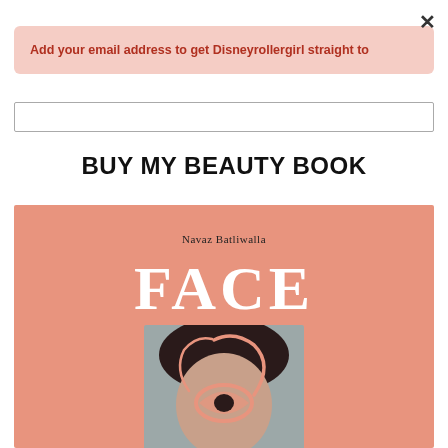×
Add your email address to get Disneyrollergirl straight to
BUY MY BEAUTY BOOK
[Figure (illustration): Book cover of 'FACE' by Navaz Batliwalla. Salmon/peach background with large white serif 'FACE' text. Below the title is a stylized graphic of a woman's face/head with dark hair and a swirling eye illustration. The face is set against a grey rectangular background.]